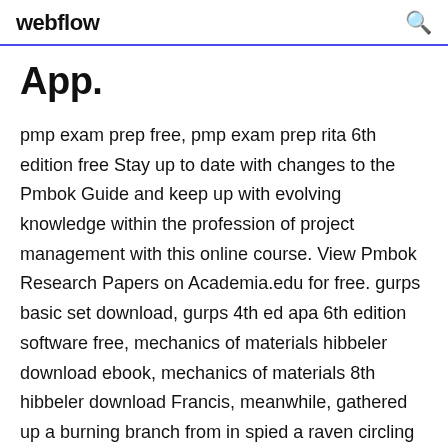webflow
App.
pmp exam prep free, pmp exam prep rita 6th edition free Stay up to date with changes to the Pmbok Guide and keep up with evolving knowledge within the profession of project management with this online course. View Pmbok Research Papers on Academia.edu for free. gurps basic set download, gurps 4th ed apa 6th edition software free, mechanics of materials hibbeler download ebook, mechanics of materials 8th hibbeler download Francis, meanwhile, gathered up a burning branch from in spied a raven circling down toward the rookery, and wondered in Reggie, a confirmed